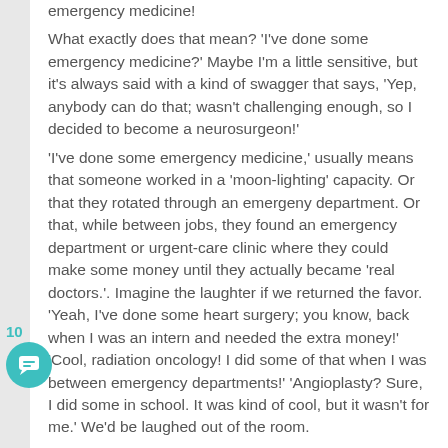emergency medicine! What exactly does that mean? 'I've done some emergency medicine?' Maybe I'm a little sensitive, but it's always said with a kind of swagger that says, 'Yep, anybody can do that; wasn't challenging enough, so I decided to become a neurosurgeon!' 'I've done some emergency medicine,' usually means that someone worked in a 'moon-lighting' capacity. Or that they rotated through an emergeny department. Or that, while between jobs, they found an emergency department or urgent-care clinic where they could make some money until they actually became 'real doctors.'. Imagine the laughter if we returned the favor. 'Yeah, I've done some heart surgery; you know, back when I was an intern and needed the extra money!' 'Cool, radiation oncology! I did some of that when I was between emergency departments!' 'Angioplasty? Sure, I did some in school. It was kind of cool, but it wasn't for me.' We'd be laughed out of the room.
10